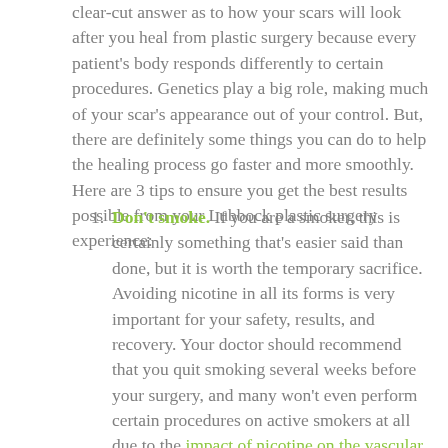clear-cut answer as to how your scars will look after you heal from plastic surgery because every patient's body responds differently to certain procedures. Genetics play a big role, making much of your scar's appearance out of your control. But, there are definitely some things you can do to help the healing process go faster and more smoothly. Here are 3 tips to ensure you get the best results possible from your Lubbock plastic surgery experience:
Don't smoke. If you are a smoker, this is certainly something that's easier said than done, but it is worth the temporary sacrifice. Avoiding nicotine in all its forms is very important for your safety, results, and recovery. Your doctor should recommend that you quit smoking several weeks before your surgery, and many won't even perform certain procedures on active smokers at all due to the impact of nicotine on the vascular system. If you have followed that advice, then not smoking during your recovery will be much